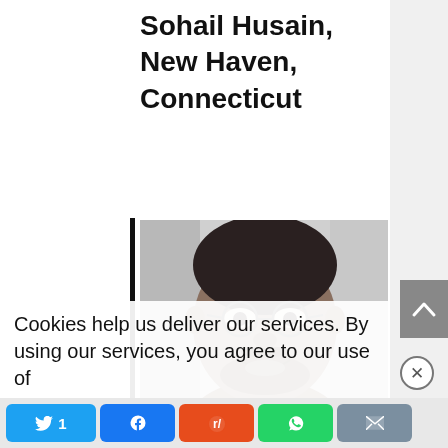Sohail Husain, New Haven, Connecticut
[Figure (photo): Black and white portrait photo of Sohail Husain, a man with glasses and a beard, smiling]
Cookies help us deliver our services. By using our services, you agree to our use of
Twitter 1 | Facebook | Reddit | WhatsApp | Email